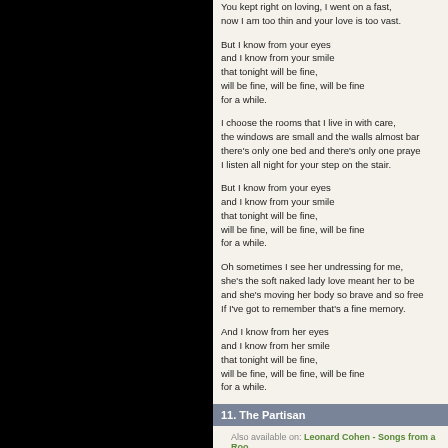You kept right on loving, I went on a fast, now I am too thin and your love is too vast.

But I know from your eyes and I know from your smile that tonight will be fine, will be fine, will be fine, will be fine for a while.

I choose the rooms that I live in with care, the windows are small and the walls almost bare, there's only one bed and there's only one prayer, I listen all night for your step on the stair.

But I know from your eyes and I know from your smile that tonight will be fine, will be fine, will be fine, will be fine for a while.

Oh sometimes I see her undressing for me, she's the soft naked lady love meant her to be and she's moving her body so brave and so free, If I've got to remember that's a fine memory.

And I know from her eyes and I know from her smile that tonight will be fine, will be fine, will be fine, will be fine for a while.
11. The Partisan
Also available on: Leonard Cohen - Songs from a Roo
When they poured across the border I was cautioned to surrender, this I could not do;